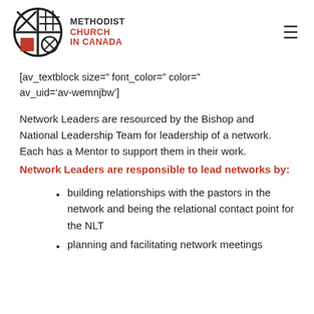METHODIST CHURCH IN CANADA
[av_textblock size=" font_color=" color=" av_uid='av-wemnjbw']
Network Leaders are resourced by the Bishop and National Leadership Team for leadership of a network. Each has a Mentor to support them in their work.
Network Leaders are responsible to lead networks by:
building relationships with the pastors in the network and being the relational contact point for the NLT
planning and facilitating network meetings